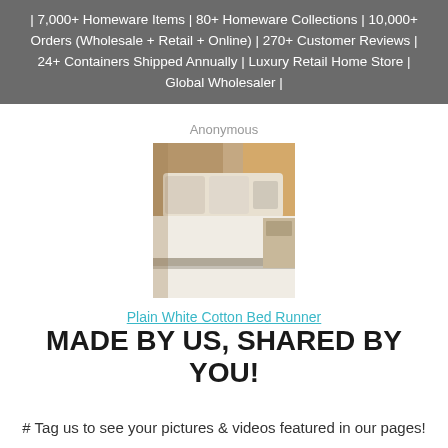| 7,000+ Homeware Items | 80+ Homeware Collections | 10,000+ Orders (Wholesale + Retail + Online) | 270+ Customer Reviews | 24+ Containers Shipped Annually | Luxury Retail Home Store | Global Wholesaler |
Anonymous
[Figure (photo): A bedroom scene showing a neatly made bed with white bedding, decorative pillows, and a plain white cotton bed runner draped across the foot of the bed. Warm curtains and rustic décor visible in background.]
Plain White Cotton Bed Runner
MADE BY US, SHARED BY YOU!
# Tag us to see your pictures & videos featured in our pages!